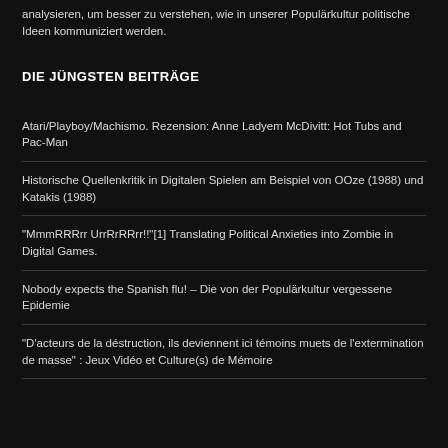analysieren, um besser zu verstehen, wie in unserer Populärkultur politische Ideen kommuniziert werden.
DIE JÜNGSTEN BEITRÄGE
Atari/Playboy/Machismo. Rezension: Anne Ladyem McDivitt: Hot Tubs and Pac-Man
Historische Quellenkritik in Digitalen Spielen am Beispiel von OOze (1988) und Katakis (1988)
"MmmRRRrr UrrRrRRrr!!"[1] Translating Political Anxieties into Zombie in Digital Games.
Nobody expects the Spanish flu! – Die von der Populärkultur vergessene Epidemie
"D'acteurs de la déstruction, ils deviennent ici témoins muets de l'extermination de masse" : Jeux Vidéo et Culture(s) de Mémoire